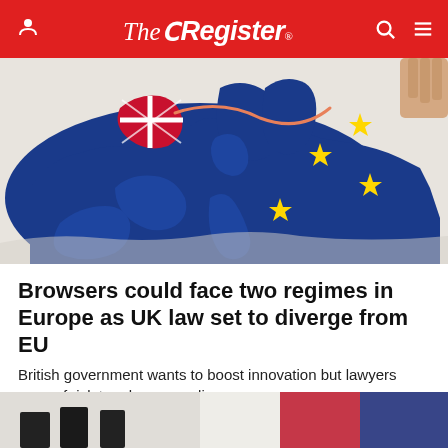The Register
[Figure (photo): Close-up photo of a blue EU political map of Europe with yellow stars, with the UK outlined in Union Jack pattern being peeled off or pulled away, suggesting Brexit separation from the European Union.]
Browsers could face two regimes in Europe as UK law set to diverge from EU
British government wants to boost innovation but lawyers warn of risk to adequacy ruling
LEGAL   29 days | 128 💬
[Figure (photo): Partial bottom image showing what appears to be flags or similar patriotic imagery, cropped at the bottom of the page.]